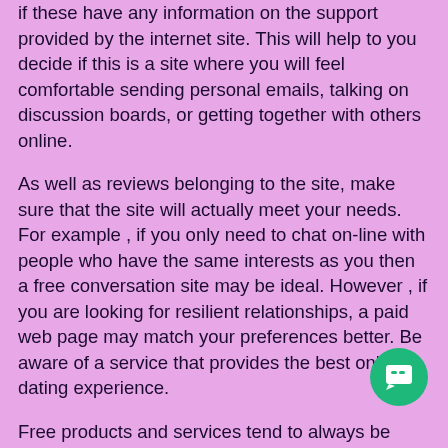if these have any information on the support provided by the internet site. This will help to you decide if this is a site where you will feel comfortable sending personal emails, talking on discussion boards, or getting together with others online.
As well as reviews belonging to the site, make sure that the site will actually meet your needs. For example , if you only need to chat on-line with people who have the same interests as you then a free conversation site may be ideal. However , if you are looking for resilient relationships, a paid web page may match your preferences better. Be aware of a service that provides the best online dating experience.
Free products and services tend to always be very limited and do not matchtruly scam compliment those with a varied account and tastes. These providers are usually a waste of time. If you are looking meant for long term romances then you probably will find greater results by simply signing up with a paid on the web safe dating site.
Do some homework on the firm behind the service. It is